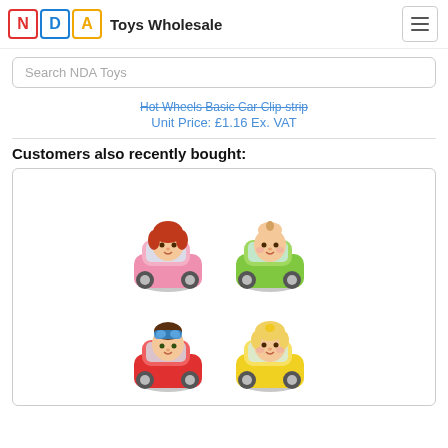NDA Toys Wholesale
Search NDA Toys
Hot Wheels Basic Car Clip-strip
Unit Price: £1.16 Ex. VAT
Customers also recently bought:
[Figure (photo): Four CoComelon character toy cars: a girl in a pink car (top left), a baby in a green car (top right), a boy with goggles in a red car (bottom left), and a baby girl in a yellow car (bottom right).]